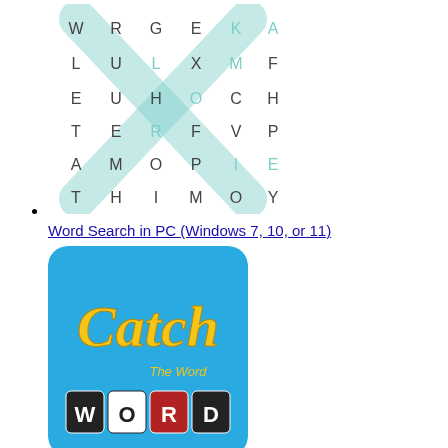[Figure (illustration): Word search puzzle grid with letters and a teal X overlay]
Word Search in PC (Windows 7, 10, or 11)
[Figure (illustration): Catch The Word app icon - blue background with yellow cursive Catch text and white WORD tiles]
Words in PC (Windows 7, 10, or 11)
[Figure (illustration): Dark app icon with white skull symbol]
BAIKOH: Words in PC (Windows 7, 10, or 11)
[Figure (illustration): Words 2019 app icon with brown letter tiles]